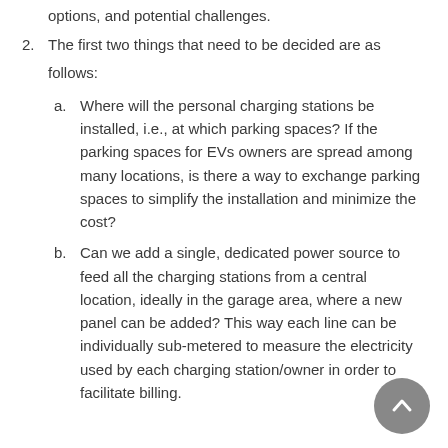options, and potential challenges.
2. The first two things that need to be decided are as follows:
a. Where will the personal charging stations be installed, i.e., at which parking spaces? If the parking spaces for EVs owners are spread among many locations, is there a way to exchange parking spaces to simplify the installation and minimize the cost?
b. Can we add a single, dedicated power source to feed all the charging stations from a central location, ideally in the garage area, where a new panel can be added? This way each line can be individually sub-metered to measure the electricity used by each charging station/owner in order to facilitate billing.